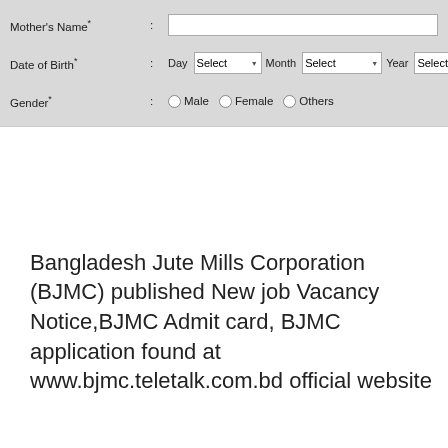Mother's Name*
Date of Birth* : Day Select Month Select Year Select
Gender* : Male Female Others
Bangladesh Jute Mills Corporation (BJMC) published New job Vacancy Notice,BJMC Admit card, BJMC application found at www.bjmc.teletalk.com.bd official website